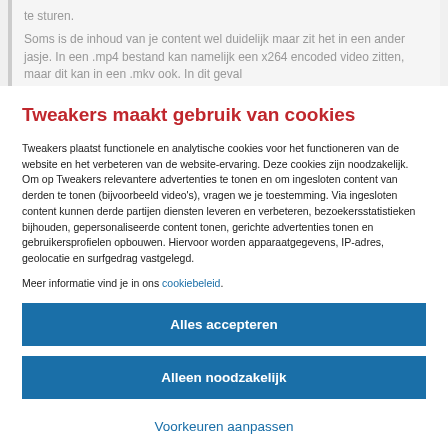te sturen.
Soms is de inhoud van je content wel duidelijk maar zit het in een ander jasje. In een .mp4 bestand kan namelijk een x264 encoded video zitten, maar dit kan in een .mkv ook. In dit geval
Tweakers maakt gebruik van cookies
Tweakers plaatst functionele en analytische cookies voor het functioneren van de website en het verbeteren van de website-ervaring. Deze cookies zijn noodzakelijk. Om op Tweakers relevantere advertenties te tonen en om ingesloten content van derden te tonen (bijvoorbeeld video's), vragen we je toestemming. Via ingesloten content kunnen derde partijen diensten leveren en verbeteren, bezoekersstatistieken bijhouden, gepersonaliseerde content tonen, gerichte advertenties tonen en gebruikersprofielen opbouwen. Hiervoor worden apparaatgegevens, IP-adres, geolocatie en surfgedrag vastgelegd.
Meer informatie vind je in ons cookiebeleid.
Alles accepteren
Alleen noodzakelijk
Voorkeuren aanpassen